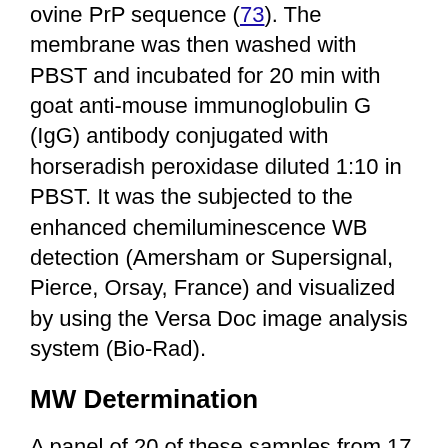ovine PrP sequence (73). The membrane was then washed with PBST and incubated for 20 min with goat anti-mouse immunoglobulin G (IgG) antibody conjugated with horseradish peroxidase diluted 1:10 in PBST. It was the subjected to the enhanced chemiluminescence WB detection (Amersham or Supersignal, Pierce, Orsay, France) and visualized by using the Versa Doc image analysis system (Bio-Rad).
MW Determination
A panel of 20 of these samples from 17 French sheep with atypical cases, 2 French goats with atypical cases, and a Norwegian sheep with Nor98 (Table) were selected for detailed molecular characterization. The apparent molecular weights (MWs) were determined with a protein standard (B2787; Sigma, Saint Louis, MO, USA). Each band was measured (apparent MWs